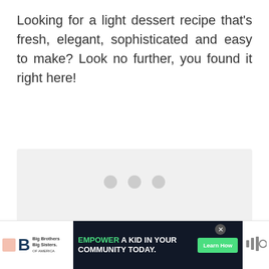Looking for a light dessert recipe that's fresh, elegant, sophisticated and easy to make? Look no further, you found it right here!
[Figure (photo): Image placeholder/loading area with three grey dots indicating an image is loading. Below the loading area are UI elements: a teal heart/favorite button showing 992 likes, a share button, and a 'What's Next' card showing Apricot Bulgur Muffins.]
[Figure (infographic): Advertisement banner for Big Brothers Big Sisters: 'EMPOWER A KID IN YOUR COMMUNITY TODAY.' with a Learn How button, alongside partial logos on the left and right.]